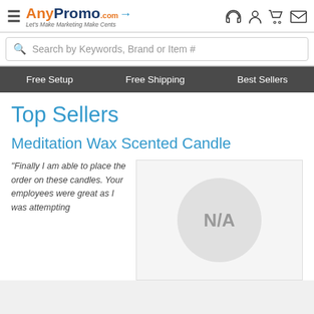[Figure (logo): AnyPromo.com logo with hamburger menu icon and tagline 'Let's Make Marketing Make Cents']
[Figure (screenshot): Header icons: headphone/support, user account, shopping cart, email/envelope]
Search by Keywords, Brand or Item #
Free Setup   Free Shipping   Best Sellers
Top Sellers
Meditation Wax Scented Candle
“Finally I am able to place the order on these candles. Your employees were great as I was attempting
[Figure (photo): Product image placeholder showing N/A in a circle on grey background]